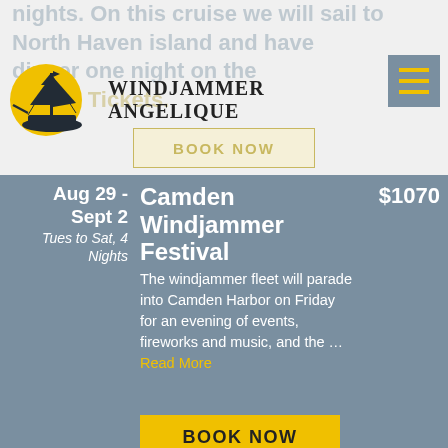[Figure (logo): Windjammer Angelique sailing ship logo with yellow sun circle background and dark ship silhouette, with brand name text]
BOOK NOW
Aug 29 - Sept 2 | Tues to Sat, 4 Nights | Camden Windjammer Festival | $1070 | The windjammer fleet will parade into Camden Harbor on Friday for an evening of events, fireworks and music, and the ... Read More
BOOK NOW
Sept 3-9 | Sun to Sat, 6 nights | 6 Night Labor Day Cruise | $1250 | Enjoy September's cooler